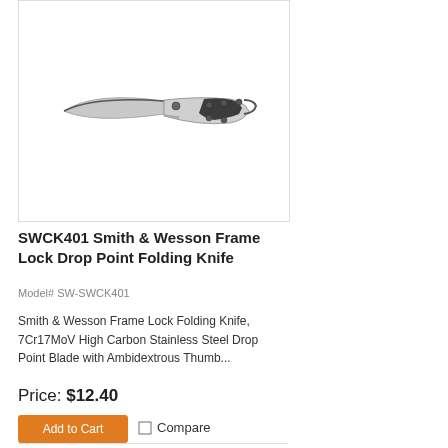[Figure (photo): Smith & Wesson SWCK401 folding knife with silver/black handle and drop point blade, shown open on white background]
SWCK401 Smith & Wesson Frame Lock Drop Point Folding Knife
Model# SW-SWCK401
Smith & Wesson Frame Lock Folding Knife, 7Cr17MoV High Carbon Stainless Steel Drop Point Blade with Ambidextrous Thumb...
Price: $12.40
Add to Cart
Compare